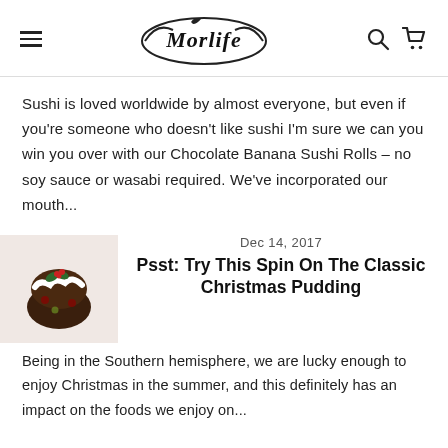Morlife [logo with hamburger menu, search and cart icons]
Sushi is loved worldwide by almost everyone, but even if you’re someone who doesn’t like sushi I’m sure we can you win you over with our Chocolate Banana Sushi Rolls – no soy sauce or wasabi required. We’ve incorporated our mouth...
[Figure (photo): Thumbnail image of a Christmas pudding dish]
Dec 14, 2017
Psst: Try This Spin On The Classic Christmas Pudding
Being in the Southern hemisphere, we are lucky enough to enjoy Christmas in the summer, and this definitely has an impact on the foods we enjoy on...